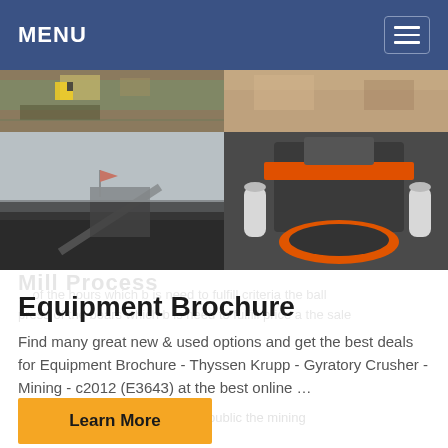MENU
[Figure (photo): Four-panel photo grid showing mining/crushing equipment: top row shows industrial site with machinery and yellow markings; bottom left shows a mining plant with conveyor and red flag; bottom right shows a large gyratory crusher with orange and black components]
Equipment Brochure
Find many great new & used options and get the best deals for Equipment Brochure - Thyssen Krupp - Gyratory Crusher - Mining - c2012 (E3643) at the best online …
Learn More